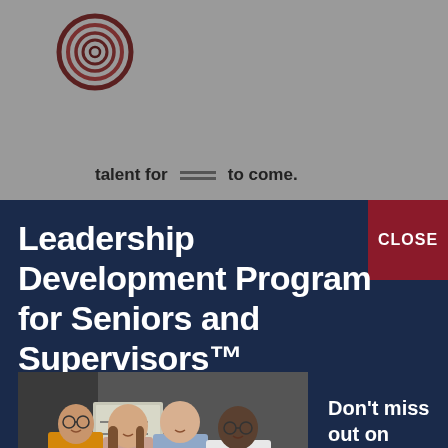[Figure (logo): Circular concentric rings logo in dark red/brown tones]
talent for generations to come.
Leadership Development Program for Seniors and Supervisors™
CLOSE
[Figure (photo): Four young professionals standing together smiling, one in yellow jacket holding documents, against a dark concrete wall with a whiteboard visible]
Don't miss out on